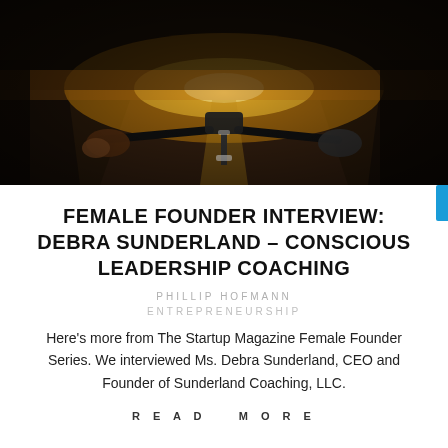[Figure (photo): First-person view from a bicycle on a road at sunset/dusk, showing handlebars and a road stretching ahead with warm orange lighting]
FEMALE FOUNDER INTERVIEW: DEBRA SUNDERLAND – CONSCIOUS LEADERSHIP COACHING
PHILLIP HOFMANN
ENTREPRENEURSHIP
Here's more from The Startup Magazine Female Founder Series. We interviewed Ms. Debra Sunderland, CEO and Founder of Sunderland Coaching, LLC.
READ MORE